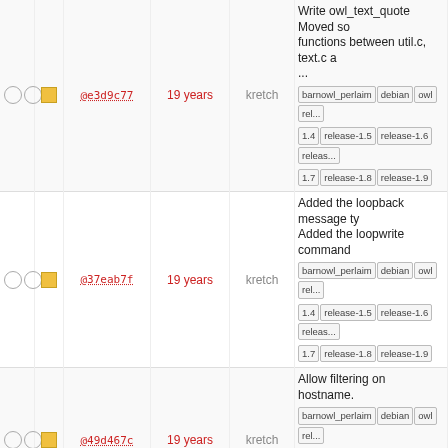|  |  |  | hash | age | author | message |
| --- | --- | --- | --- | --- | --- | --- |
| ○ ○ | ■ | @e3d9c77 | 19 years | kretch | Write owl_text_quote Moved so... barnowl_perlaim debian owl rel... 1.4 release-1.5 release-1.6 releas... 1.7 release-1.8 release-1.9 |
| ○ ○ | ■ | @37eab7f | 19 years | kretch | Added the loopback message ty... Added the loopwrite command barnowl_perlaim debian owl rel... 1.4 release-1.5 release-1.6 releas... 1.7 release-1.8 release-1.9 |
| ○ ○ | ■ | @49d467c | 19 years | kretch | Allow filtering on hostname. barnowl_perlaim debian owl rel... 1.4 release-1.5 release-1.6 releas... 1.7 release-1.8 release-1.9 |
| ○ ○ | ■ | @09489b89 | 19 years | kretch | First pass at making owl build without zephyr barnowl_perlaim debian owl rel... 1.4 release-1.5 release-1.6 releas... 1.7 release-1.8 release-1.9 |
| ○ ○ | ■ | @e187445 | 19 years | kretch | reformatted filter, filterelement a... regex to new code style barnowl_perlaim debian owl rel... 1.4 release-1.5 release-1.6 releas... 1.7 release-1.8 release-1.9 |
| ○ ○ | ■ | @0c502e9 | 19 years | kretch | Added filter field 'login' which ca... take the values 'login' ... barnowl_perlaim debian owl rel... 1.4 release-1.5 release-1.6 releas... 1.7 release-1.8 release-1.9 |
| ○ ○ | ■ |  |  |  | make smartnarrow work for Al... |